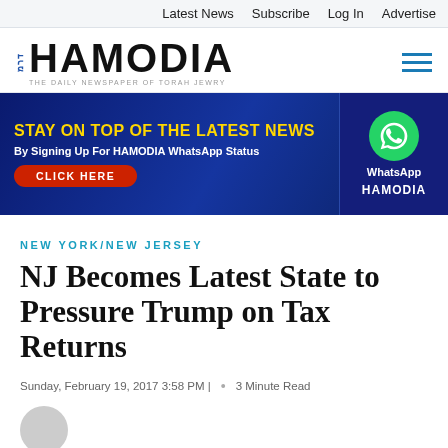Latest News   Subscribe   Log In   Advertise
[Figure (logo): Hamodia newspaper logo with Hebrew prefix and tagline 'The Daily Newspaper of Torah Jewry']
[Figure (infographic): Advertisement banner: 'STAY ON TOP OF THE LATEST NEWS By Signing Up For HAMODIA WhatsApp Status CLICK HERE' with WhatsApp logo and HAMODIA branding on dark blue background]
NEW YORK/NEW JERSEY
NJ Becomes Latest State to Pressure Trump on Tax Returns
Sunday, February 19, 2017 3:58 PM |   •   3 Minute Read